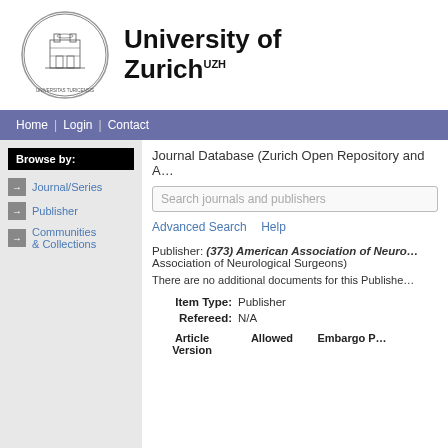[Figure (logo): University of Zurich circular seal/crest logo]
University of Zurich UZH
Home | Login | Contact
Browse by:
Journal/Series
Publisher
Communities & Collections
Journal Database (Zurich Open Repository and A...
Search journals and publishers
Advanced Search    Help
Publisher: (373) American Association of Neurological Surgeons)
There are no additional documents for this Publisher
| Article Version | Allowed | Embargo P... |
| --- | --- | --- |